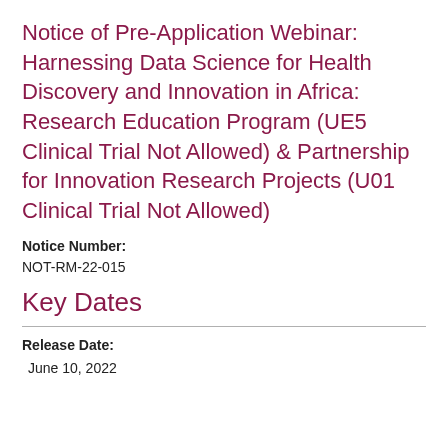Notice of Pre-Application Webinar: Harnessing Data Science for Health Discovery and Innovation in Africa: Research Education Program (UE5 Clinical Trial Not Allowed) & Partnership for Innovation Research Projects (U01 Clinical Trial Not Allowed)
Notice Number: NOT-RM-22-015
Key Dates
Release Date: June 10, 2022